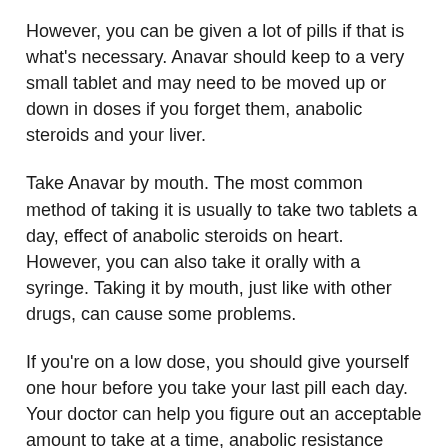However, you can be given a lot of pills if that is what's necessary. Anavar should keep to a very small tablet and may need to be moved up or down in doses if you forget them, anabolic steroids and your liver.
Take Anavar by mouth. The most common method of taking it is usually to take two tablets a day, effect of anabolic steroids on heart. However, you can also take it orally with a syringe. Taking it by mouth, just like with other drugs, can cause some problems.
If you're on a low dose, you should give yourself one hour before you take your last pill each day. Your doctor can help you figure out an acceptable amount to take at a time, anabolic resistance elderly. Your doctor can adjust the number of days that you take for your Anavar dosage for you, anabolic resistance elderly0.